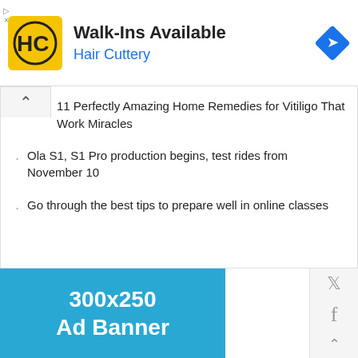[Figure (screenshot): Hair Cuttery advertisement banner with logo showing HC in yellow square, Walk-Ins Available heading, Hair Cuttery subheading, and blue diamond navigation icon]
11 Perfectly Amazing Home Remedies for Vitiligo That Work Miracles
Ola S1, S1 Pro production begins, test rides from November 10
Go through the best tips to prepare well in online classes
[Figure (other): 300x250 Ad Banner placeholder in sky blue color]